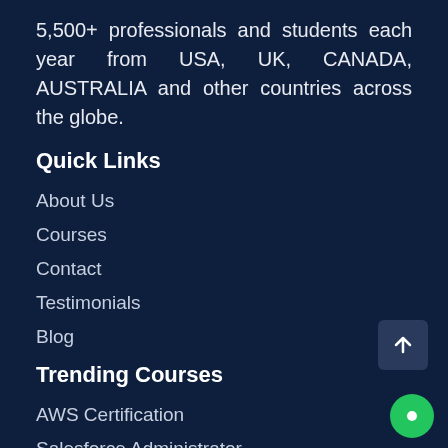5,500+ professionals and students each year from USA, UK, CANADA, AUSTRALIA and other countries across the globe.
Quick Links
About Us
Courses
Contact
Testimonials
Blog
Trending Courses
AWS Certification
Salesforce Administrator
Salesforce Developer Training